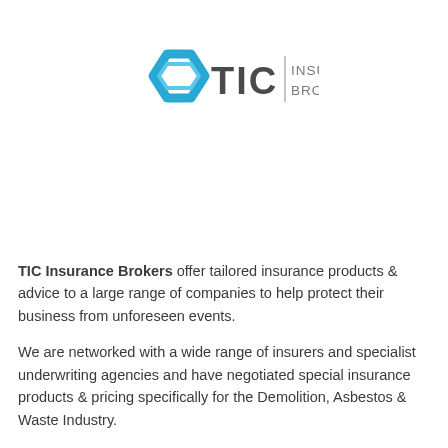[Figure (logo): TIC Insurance Brokers logo: a blue hexagon outline icon on the left, followed by bold dark gray 'TIC' text, a vertical divider, and 'INSURANCE BROKERS' in gray on two lines.]
TIC Insurance Brokers offer tailored insurance products & advice to a large range of companies to help protect their business from unforeseen events.
We are networked with a wide range of insurers and specialist underwriting agencies and have negotiated special insurance products & pricing specifically for the Demolition, Asbestos & Waste Industry.